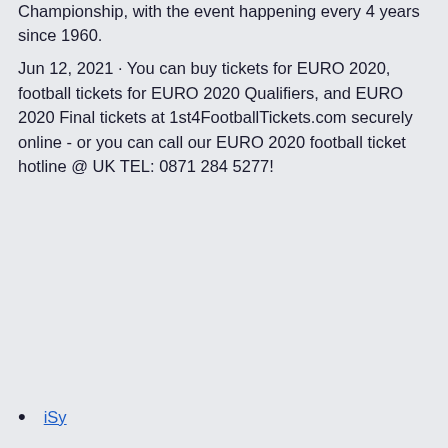Championship, with the event happening every 4 years since 1960.
Jun 12, 2021 · You can buy tickets for EURO 2020, football tickets for EURO 2020 Qualifiers, and EURO 2020 Final tickets at 1st4FootballTickets.com securely online - or you can call our EURO 2020 football ticket hotline @ UK TEL: 0871 284 5277!
iSy